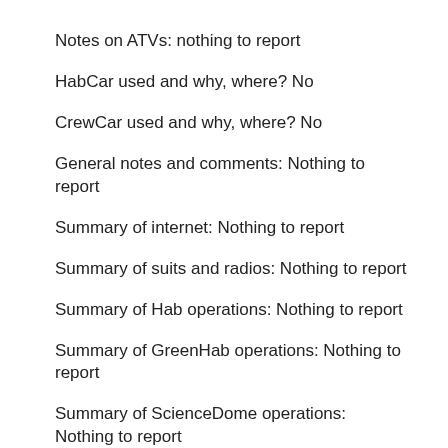Notes on ATVs: nothing to report
HabCar used and why, where? No
CrewCar used and why, where? No
General notes and comments: Nothing to report
Summary of internet: Nothing to report
Summary of suits and radios: Nothing to report
Summary of Hab operations: Nothing to report
Summary of GreenHab operations: Nothing to report
Summary of ScienceDome operations: Nothing to report